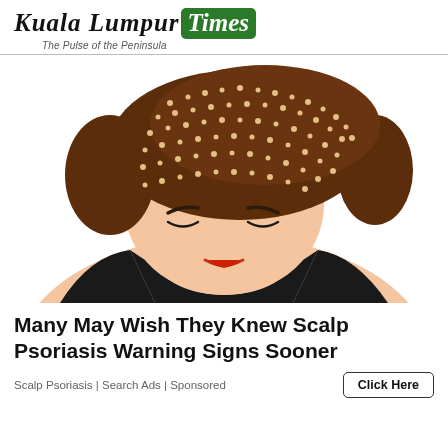Kuala Lumpur Times — The Pulse of the Peninsula
[Figure (illustration): Illustration of a woman bowing her head forward, showing her scalp with many small white/cream dots representing psoriasis flakes on brown hair, wearing a black top, with a peach skin tone and red lips.]
Many May Wish They Knew Scalp Psoriasis Warning Signs Sooner
Scalp Psoriasis | Search Ads | Sponsored
Click Here